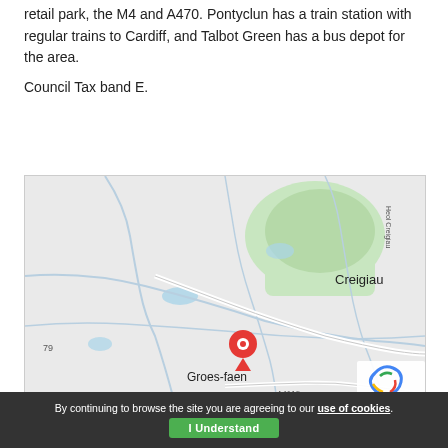retail park, the M4 and A470. Pontyclun has a train station with regular trains to Cardiff, and Talbot Green has a bus depot for the area.
Council Tax band E.
[Figure (map): Google Maps screenshot showing the area around Groes-faen with Creigiau visible to the upper right. A red location pin marks Groes-faen. Roads include A4119. Green wooded area visible upper right. Blue water features visible. Road 79 visible lower left.]
By continuing to browse the site you are agreeing to our use of cookies.
I Understand